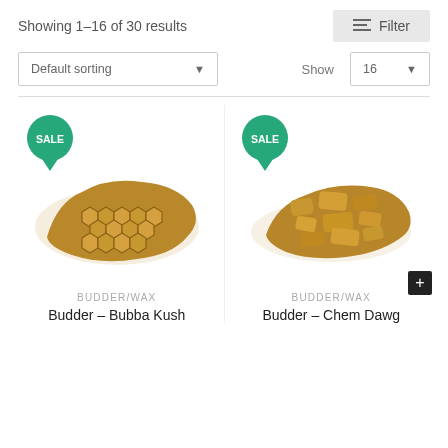Showing 1–16 of 30 results
Filter
Default sorting
Show 16
[Figure (photo): Cannabis budder/wax product (honeycomb texture) with green SALE badge]
[Figure (photo): Cannabis budder/wax product (crumble texture) with green SALE badge]
BUDDER/WAX
Budder – Bubba Kush
BUDDER/WAX
Budder – Chem Dawg